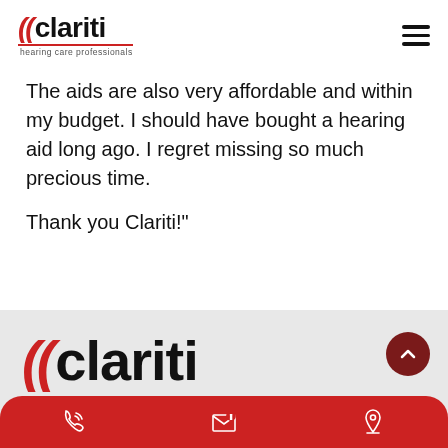[Figure (logo): Clariti hearing care professionals logo with red wave marks and red underline, top left header]
[Figure (other): Hamburger menu icon (three horizontal lines), top right]
The aids are also very affordable and within my budget. I should have bought a hearing aid long ago. I regret missing so much precious time.
Thank you Clariti!"
[Figure (logo): Large Clariti hearing care professionals logo in grey footer area]
[Figure (other): Dark red circular scroll-to-top button with up arrow, bottom right of grey section]
[Figure (other): Red rounded bottom bar with three white icons: phone, email/envelope, location pin]